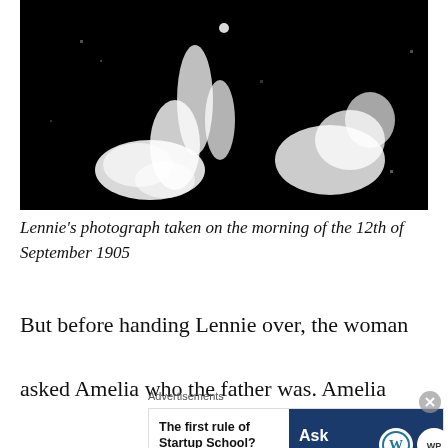[Figure (photo): A dark, high-contrast black and white photograph showing white shapes that appear to be birds or flowers against a black background, with a small white dot near the top center.]
Lennie’s photograph taken on the morning of the 12th of September 1905
But before handing Lennie over, the woman asked Amelia who the father was. Amelia said it
Advertisements
[Figure (other): Advertisement banner. Left white section reads: 'The first rule of Startup School?' Right dark blue section reads: 'Ask questions.' with WordPress and WordPress.com logos.]